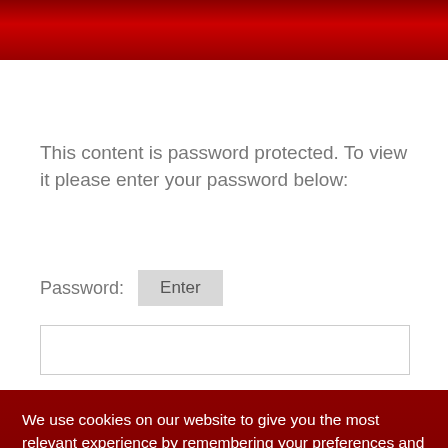This content is password protected. To view it please enter your password below:
Password: Enter
We use cookies on our website to give you the most relevant experience by remembering your preferences and repeat visits. By clicking “Accept All”, you consent to the use of ALL the cookies. However, you may visit "Cookie Settings" to provide a controlled consent.
Cookie Settings
Accept All
Translate »